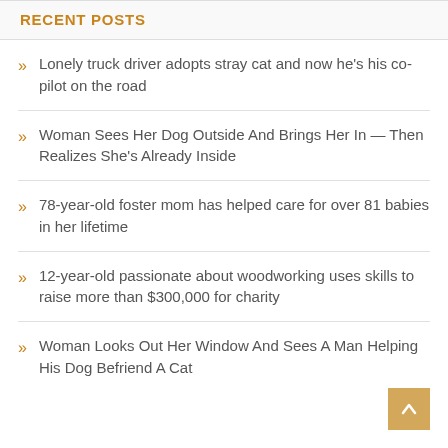RECENT POSTS
Lonely truck driver adopts stray cat and now he's his co-pilot on the road
Woman Sees Her Dog Outside And Brings Her In — Then Realizes She's Already Inside
78-year-old foster mom has helped care for over 81 babies in her lifetime
12-year-old passionate about woodworking uses skills to raise more than $300,000 for charity
Woman Looks Out Her Window And Sees A Man Helping His Dog Befriend A Cat